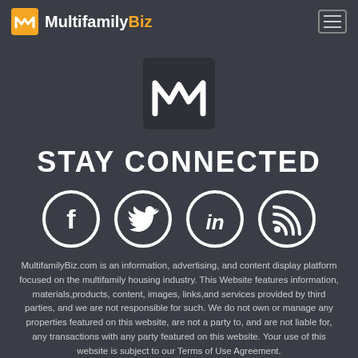MultifamilyBiz
[Figure (logo): MultifamilyBiz logo mark — white stylized double-M icon on dark square background]
STAY CONNECTED
[Figure (infographic): Four social media icons in circles: Facebook, Twitter, LinkedIn, RSS Feed]
MultifamilyBiz.com is an information, advertising, and content display platform focused on the multifamily housing industry. This Website features information, materials,products, content, images, links,and services provided by third parties, and we are not responsible for such. We do not own or manage any properties featured on this website, are not a party to, and are not liable for, any transactions with any party featured on this website. Your use of this website is subject to our Terms of Use Agreement.